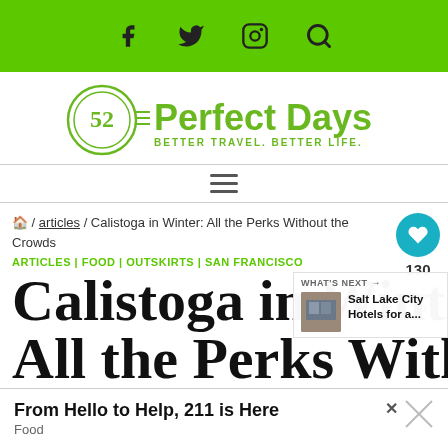Social media and search icons navigation bar
[Figure (logo): 52 Perfect Days logo - circle with 52, green text 'Perfect Days', tagline 'BETTER TRAVEL. BETTER LIFE.']
☰ hamburger menu
🏠 / articles / Calistoga in Winter: All the Perks Without the Crowds
130
ARTICLES | FOOD | OUTSKIRTS | SAN FRANCISCO
Calistoga in Winter: All the Perks Without the Crowds
WHAT'S NEXT → Salt Lake City Hotels for a...
From Hello to Help, 211 is Here
Food